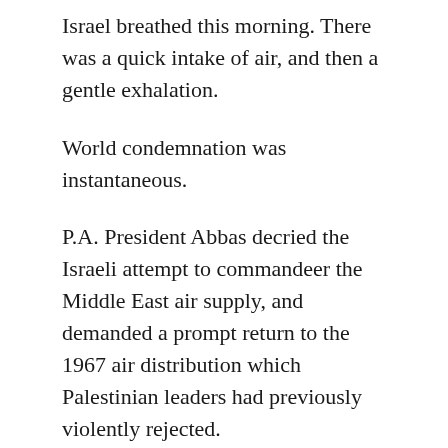Israel breathed this morning. There was a quick intake of air, and then a gentle exhalation.
World condemnation was instantaneous.
P.A. President Abbas decried the Israeli attempt to commandeer the Middle East air supply, and demanded a prompt return to the 1967 air distribution which Palestinian leaders had previously violently rejected.
Iranian President Ahmadinejad interrupted his weekly call for the destruction of Israel in order to blast the Zionist entity for its blatant oxygen grab